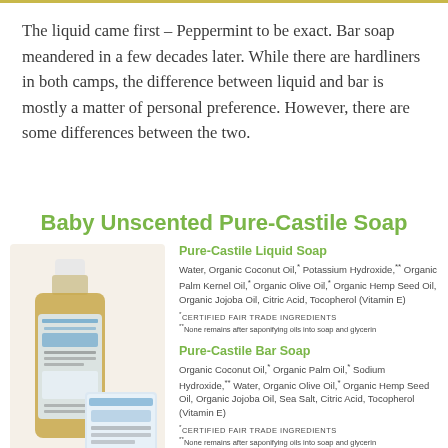The liquid came first – Peppermint to be exact. Bar soap meandered in a few decades later. While there are hardliners in both camps, the difference between liquid and bar is mostly a matter of personal preference. However, there are some differences between the two.
Baby Unscented Pure-Castile Soap
[Figure (photo): Photo of Dr. Bronner's Baby Unscented Pure-Castile Liquid Soap bottle (large amber bottle with white cap) and a small bar soap box, both with blue and white label design.]
Pure-Castile Liquid Soap
Water, Organic Coconut Oil,* Potassium Hydroxide,** Organic Palm Kernel Oil,* Organic Olive Oil,* Organic Hemp Seed Oil, Organic Jojoba Oil, Citric Acid, Tocopherol (Vitamin E)
*CERTIFIED FAIR TRADE INGREDIENTS
**None remains after saponifying oils into soap and glycerin
Pure-Castile Bar Soap
Organic Coconut Oil,* Organic Palm Oil,* Sodium Hydroxide,** Water, Organic Olive Oil,* Organic Hemp Seed Oil, Organic Jojoba Oil, Sea Salt, Citric Acid, Tocopherol (Vitamin E)
*CERTIFIED FAIR TRADE INGREDIENTS
**None remains after saponifying oils into soap and glycerin